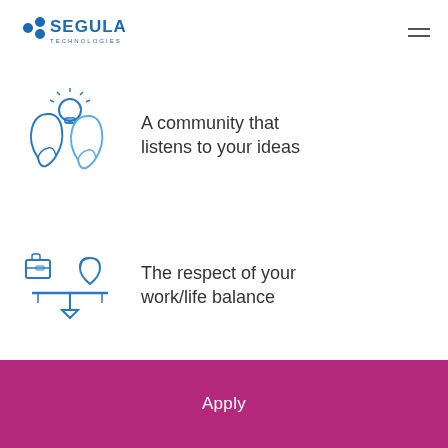[Figure (logo): SEGULA Technologies logo in blue]
[Figure (illustration): Blue icon of two faces with a lightbulb above, representing community ideas]
A community that listens to your ideas
[Figure (illustration): Blue icon of a balance scale with briefcase and heart, representing work/life balance]
The respect of your work/life balance
Apply